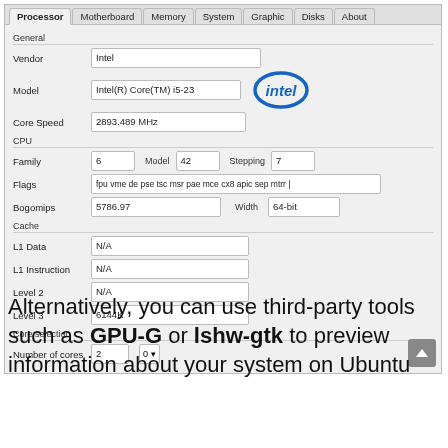[Figure (screenshot): CPU-G system information utility showing Processor tab with Intel Core i5 details: Vendor: Intel, Model: Intel(R) Core(TM) i5-23, Core Speed: 2893.489 MHz. CPU section: Family 6, Model 42, Stepping 7, Flags: fpu vme de pse tsc msr pae mce cx8 apic sep mtrr, Bogomips: 5786.97, Width: 64-bit. Cache: L1 Data N/A, L1 Instruction N/A, Level 2 N/A, Level 3 6144K. Core selection: Number of cores 2, dropdown 0.]
Alternatively, you can use third-party tools such as GPU-G or lshw-gtk to preview information about your system on Ubuntu